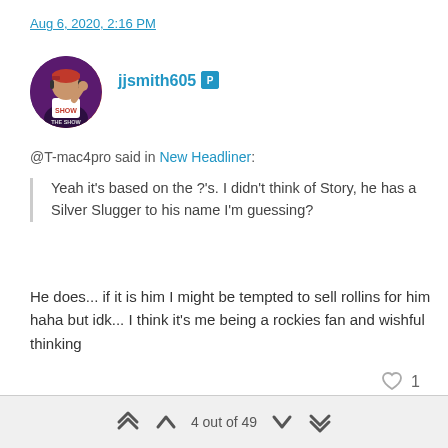Aug 6, 2020, 2:16 PM
[Figure (photo): User avatar showing a baseball player with MLB The Show branding, circular profile picture]
jjsmith605 [PlayStation icon]
@T-mac4pro said in New Headliner:
Yeah it's based on the ?'s. I didn't think of Story, he has a Silver Slugger to his name I'm guessing?
He does... if it is him I might be tempted to sell rollins for him haha but idk... I think it's me being a rockies fan and wishful thinking
1
Aug 6, 2020, 2:20 PM
4 out of 49